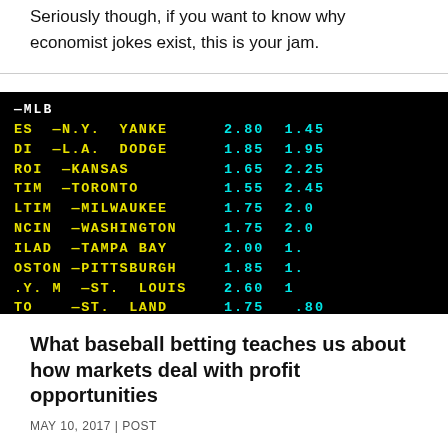Seriously though, if you want to know why economist jokes exist, this is your jam.
[Figure (photo): Sports betting board showing MLB odds with team names in yellow and odds in cyan on a black background. Teams listed include N.Y. Yankees, L.A. Dodgers, Kansas, Toronto, Milwaukee, Washington, Tampa Bay, Pittsburgh, St. Louis with various odds values.]
What baseball betting teaches us about how markets deal with profit opportunities
MAY 10, 2017 | POST